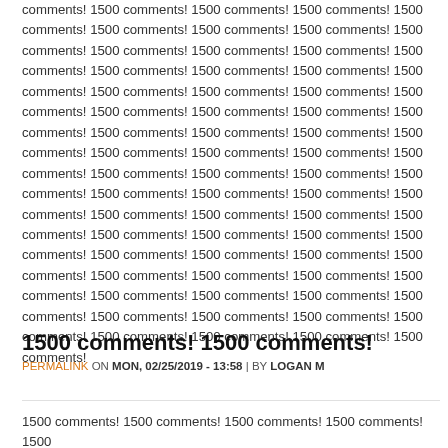comments! 1500 comments! 1500 comments! 1500 comments! 1500 comments! 1500 comments! 1500 comments! 1500 comments! 1500 comments! 1500 comments! 1500 comments! 1500 comments! 1500 comments! 1500 comments! 1500 comments! 1500 comments! 1500 comments! 1500 comments! 1500 comments! 1500 comments! 1500 comments! 1500 comments! 1500 comments! 1500 comments! 1500 comments! 1500 comments! 1500 comments! 1500 comments! 1500 comments! 1500 comments! 1500 comments! 1500 comments! 1500 comments! 1500 comments! 1500 comments! 1500 comments! 1500 comments! 1500 comments! 1500 comments! 1500 comments! 1500 comments! 1500 comments! 1500 comments! 1500 comments! 1500 comments! 1500 comments! 1500 comments! 1500 comments! 1500 comments! 1500 comments! 1500 comments! 1500 comments! 1500 comments! 1500 comments! 1500 comments! 1500 comments! 1500 comments! 1500 comments! 1500 comments! 1500 comments! 1500 comments! 1500 comments! 1500 comments! 1500 comments! 1500 comments! 1500 comments! 1500 comments! 1500 comments! 1500 comments!
1500 comments! 1500 comments!
PERMALINK ON MON, 02/25/2019 - 13:58 | BY LOGAN M
1500 comments! 1500 comments! 1500 comments! 1500 comments! 1500